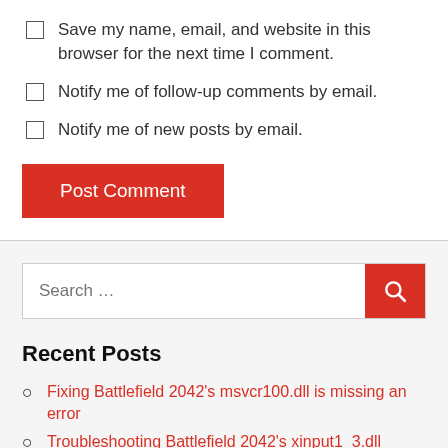Save my name, email, and website in this browser for the next time I comment.
Notify me of follow-up comments by email.
Notify me of new posts by email.
Post Comment
Search ...
Recent Posts
Fixing Battlefield 2042's msvcr100.dll is missing an error
Troubleshooting Battlefield 2042's xinput1_3.dll